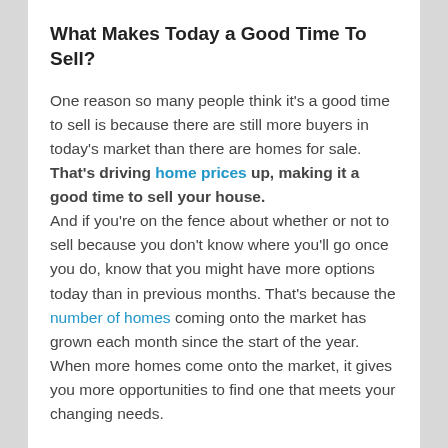What Makes Today a Good Time To Sell?
One reason so many people think it's a good time to sell is because there are still more buyers in today's market than there are homes for sale. That's driving home prices up, making it a good time to sell your house.
And if you're on the fence about whether or not to sell because you don't know where you'll go once you do, know that you might have more options today than in previous months. That's because the number of homes coming onto the market has grown each month since the start of the year. When more homes come onto the market, it gives you more opportunities to find one that meets your changing needs.